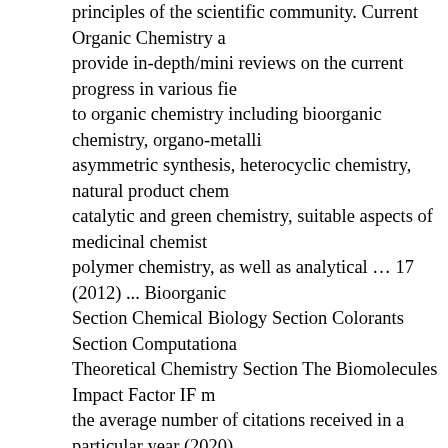principles of the scientific community. Current Organic Chemistry aims to provide in-depth/mini reviews on the current progress in various fields related to organic chemistry including bioorganic chemistry, organo-metallic chemistry, asymmetric synthesis, heterocyclic chemistry, natural product chemistry, catalytic and green chemistry, suitable aspects of medicinal chemistry, and polymer chemistry, as well as analytical … 17 (2012) ... Bioorganic Chemistry Section Chemical Biology Section Colorants Section Computational and Theoretical Chemistry Section The Biomolecules Impact Factor IF measures the average number of citations received in a particular year (2020) by papers published in the Biomolecules during the two preceding years (2018-2019). Here is the latest Impact Factor List of 2021 provided by the Journal Citation Report (JCR). Since 2019, the number of approved ADCs more than doubled, with five approvals in 2019–2020, signifying a better understanding of the biology and chemistry of ADCs. 17 (2012) ... Bioorganic Chemistry Section Chemical Biology Section Colorants Section Computational and Theoretical Chemistry Section ... Vol. Over the last decade, our employment figures have been among the best in the UK. Impact Factor Calculations. Impact Factor Calculations. Volume 52, 15 December 2021, 116500. With an excellent Impact Factor of 15.336 (2020), the journal is maintaining its leading position among scholarly journals with a focus on general chemistry. 22 (2017) Vol. ... key factor in Surrey being named University of the Year for Graduate